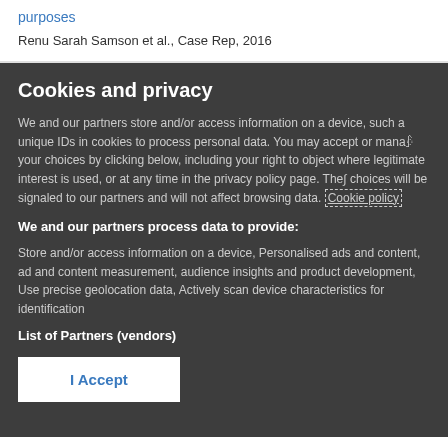purposes
Renu Sarah Samson et al., Case Rep, 2016
Cookies and privacy
We and our partners store and/or access information on a device, such a unique IDs in cookies to process personal data. You may accept or manage your choices by clicking below, including your right to object where legitimate interest is used, or at any time in the privacy policy page. These choices will be signaled to our partners and will not affect browsing data. Cookie policy
We and our partners process data to provide:
Store and/or access information on a device, Personalised ads and content, ad and content measurement, audience insights and product development, Use precise geolocation data, Actively scan device characteristics for identification
List of Partners (vendors)
I Accept